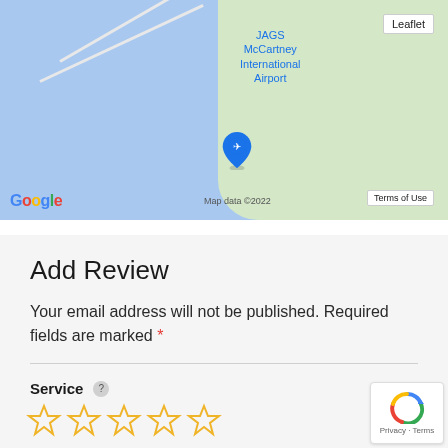[Figure (screenshot): Google Maps screenshot showing JAGS McCartney International Airport with a map pin, Leaflet button, Terms of Use button, Map data ©2022 label, and Google logo]
Add Review
Your email address will not be published. Required fields are marked *
Service ? (five empty star rating icons)